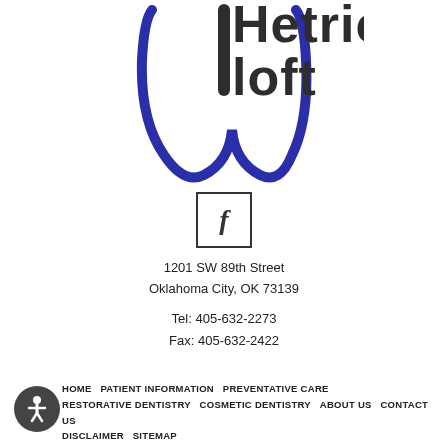[Figure (logo): Hetrick Loft dental practice logo with stylized blue tooth/floss shape and dark text reading 'Hetrick' and 'loft']
[Figure (logo): Facebook social media icon in a square border with lowercase 'f']
1201 SW 89th Street
Oklahoma City, OK 73139
Tel: 405-632-2273
Fax: 405-632-2422
HOME   PATIENT INFORMATION   PREVENTATIVE CARE   RESTORATIVE DENTISTRY   COSMETIC DENTISTRY   ABOUT US   CONTACT US   DISCLAIMER   SITEMAP